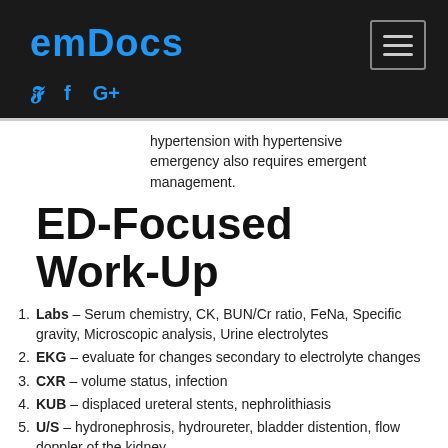emDocs
hypertension with hypertensive emergency also requires emergent management.
ED-Focused Work-Up
Labs – Serum chemistry, CK, BUN/Cr ratio, FeNa, Specific gravity, Microscopic analysis, Urine electrolytes
EKG – evaluate for changes secondary to electrolyte changes
CXR – volume status, infection
KUB – displaced ureteral stents, nephrolithiasis
U/S – hydronephrosis, hydroureter, bladder distention, flow doppler of the kidney
CT – nephrolithiasis, abdominal/pelvic masses
ED Management